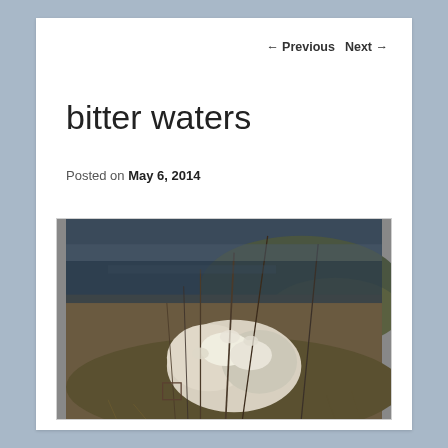← Previous   Next →
bitter waters
Posted on May 6, 2014
[Figure (photo): Outdoor nature photograph showing frost-covered or ice-coated dry plants, grasses and shrubs in a field or wetland area. The background shows dark water or dark ground. The image has muted blue, brown, and white tones.]